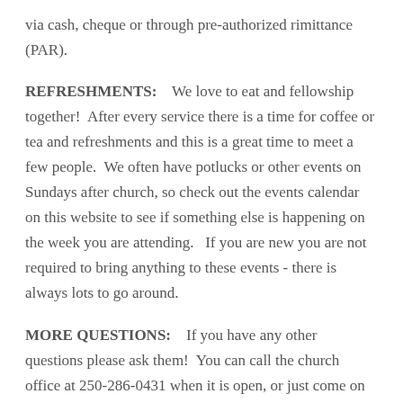via cash, cheque or through pre-authorized rimittance (PAR).
REFRESHMENTS:   We love to eat and fellowship together!  After every service there is a time for coffee or tea and refreshments and this is a great time to meet a few people.  We often have potlucks or other events on Sundays after church, so check out the events calendar on this website to see if something else is happening on the week you are attending.   If you are new you are not required to bring anything to these events - there is always lots to go around.
MORE QUESTIONS:   If you have any other questions please ask them!  You can call the church office at 250-286-0431 when it is open, or just come on in and ask